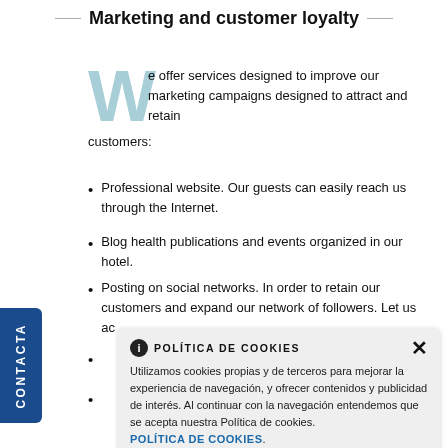Marketing and customer loyalty
We offer services designed to improve our marketing campaigns designed to attract and retain customers:
Professional website. Our guests can easily reach us through the Internet.
Blog health publications and events organized in our hotel.
Posting on social networks. In order to retain our customers and expand our network of followers. Let us ac[...]
[partially obscured]
[partially obscured]
POLÍTICA DE COOKIES
Utilizamos cookies propias y de terceros para mejorar la experiencia de navegación, y ofrecer contenidos y publicidad de interés. Al continuar con la navegación entendemos que se acepta nuestra Política de cookies.
POLÍTICA DE COOKIES.